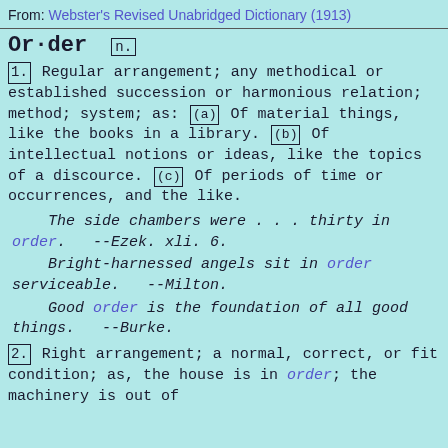From: Webster's Revised Unabridged Dictionary (1913)
Or·der  n.
1. Regular arrangement; any methodical or established succession or harmonious relation; method; system; as: (a) Of material things, like the books in a library. (b) Of intellectual notions or ideas, like the topics of a discource. (c) Of periods of time or occurrences, and the like.
The side chambers were . . . thirty in order. --Ezek. xli. 6.
Bright-harnessed angels sit in order serviceable. --Milton.
Good order is the foundation of all good things. --Burke.
2. Right arrangement; a normal, correct, or fit condition; as, the house is in order; the machinery is out of